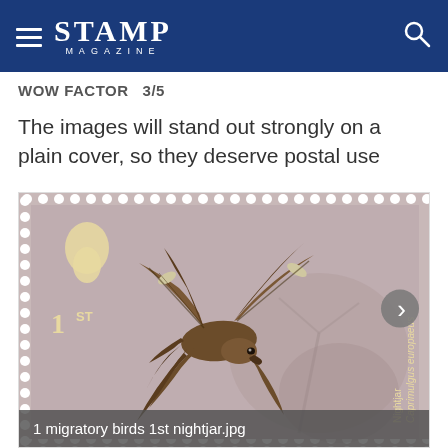STAMP MAGAZINE
WOW FACTOR  3/5
The images will stand out strongly on a plain cover, so they deserve postal use
[Figure (photo): A British Royal Mail 1st class postage stamp featuring a nightjar (Caprimulgus europaeus) in flight, with a mauve/taupe background and perforated edges. The stamp shows the Queen's silhouette in the top left and '1ST' denomination.]
1 migratory birds 1st nightjar.jpg